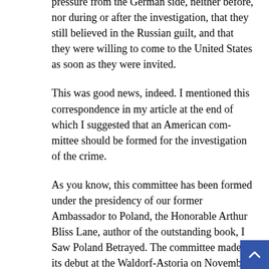pressure from the German side, neither before, nor during or after the investigation, that they still believed in the Russian guilt, and that they were willing to come to the United States as soon as they were invited.
This was good news, indeed. I mentioned this correspondence in my article at the end of which I suggested that an American committee should be formed for the investigation of the crime.
As you know, this committee has been formed under the presidency of our former Ambassador to Poland, the Honorable Arthur Bliss Lane, author of the outstanding book, I Saw Poland Betrayed. The committee made its debut at the Waldorf-Astoria on November 21, 1949. There, Ambassador Lane delivered a speech about Katyn and the formation of the